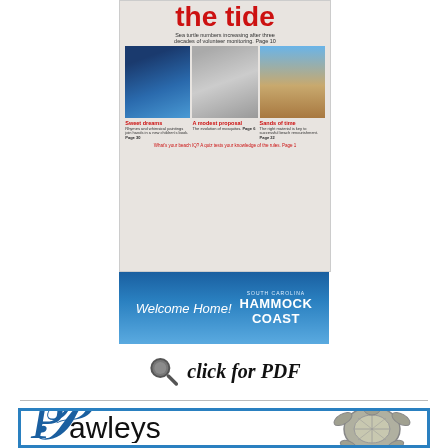[Figure (illustration): Magazine cover with red title 'catch the tide', subtitle about sea turtles increasing after volunteer monitoring Page 10, three photos showing beach/ocean scenes with captions 'Sweet dreams', 'A modest proposal', 'Sands of time']
[Figure (illustration): Hammock Coast advertisement banner with 'Welcome Home!' cursive text and Hammock Coast logo over coastal scene]
click for PDF
[Figure (logo): Pawleys Island magazine logo with decorative P and sea turtle illustration, blue border advertisement]